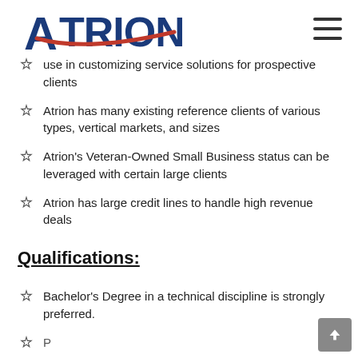Atrion [logo]
use in customizing service solutions for prospective clients
Atrion has many existing reference clients of various types, vertical markets, and sizes
Atrion's Veteran-Owned Small Business status can be leveraged with certain large clients
Atrion has large credit lines to handle high revenue deals
Qualifications:
Bachelor's Degree in a technical discipline is strongly preferred.
[partially visible]